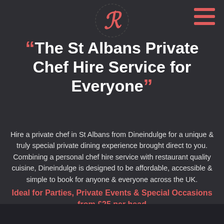[Figure (logo): Stylized cursive 'G' or 'R' monogram logo in coral/salmon color with dashed circle border, Dineindulge brand logo]
[Figure (other): Hamburger menu icon with three horizontal coral/salmon colored lines, top right corner]
“The St Albans Private Chef Hire Service for Everyone”
Hire a private chef in St Albans from Dineindulge for a unique & truly special private dining experience brought direct to you. Combining a personal chef hire service with restaurant quality cuisine, Dineindulge is designed to be affordable, accessible & simple to book for anyone & everyone across the UK.
Ideal for Parties, Private Events & Special Occasions from £25 per head
[Figure (photo): Dark photograph strip at the bottom of the page, appears to show a person in a kitchen or dining setting]